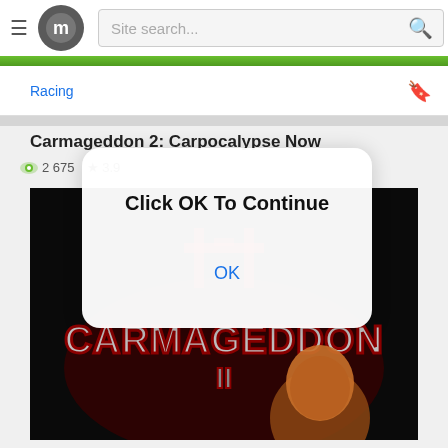[Figure (screenshot): Website navigation bar with hamburger menu, circular logo with 'M', site search box and magnifying glass icon, green accent bar below]
Racing
Carmageddon 2: Carpocalypse Now
2 675  ★ 3.9
[Figure (photo): Carmageddon 2 game cover art showing game title in metallic red/grey letters on black background with a bald character]
Click OK To Continue
OK